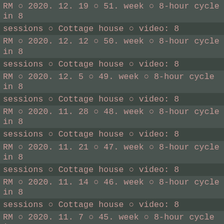RM ○ 2020. 12. 19 ○ 51. week ○ 8-hour cycle in 8 sessions ○ Cottage house ○ video: 8
RM ○ 2020. 12. 12 ○ 50. week ○ 8-hour cycle in 8 sessions ○ Cottage house ○ video: 8
RM ○ 2020. 12. 5 ○ 49. week ○ 8-hour cycle in 8 sessions ○ Cottage house ○ video: 8
RM ○ 2020. 11. 28 ○ 48. week ○ 8-hour cycle in 8 sessions ○ Cottage house ○ video: 8
RM ○ 2020. 11. 21 ○ 47. week ○ 8-hour cycle in 8 sessions ○ Cottage house ○ video: 8
RM ○ 2020. 11. 14 ○ 46. week ○ 8-hour cycle in 8 sessions ○ Cottage house ○ video: 8
RM ○ 2020. 11. 7 ○ 45. week ○ 8-hour cycle in 8